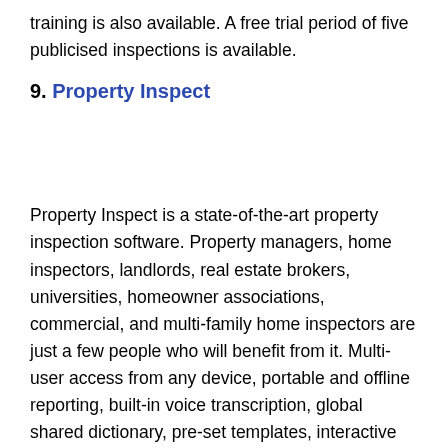training is also available. A free trial period of five publicised inspections is available.
9. Property Inspect
Property Inspect is a state-of-the-art property inspection software. Property managers, home inspectors, landlords, real estate brokers, universities, homeowner associations, commercial, and multi-family home inspectors are just a few people who will benefit from it. Multi-user access from any device, portable and offline reporting, built-in voice transcription, global shared dictionary, pre-set templates, interactive web